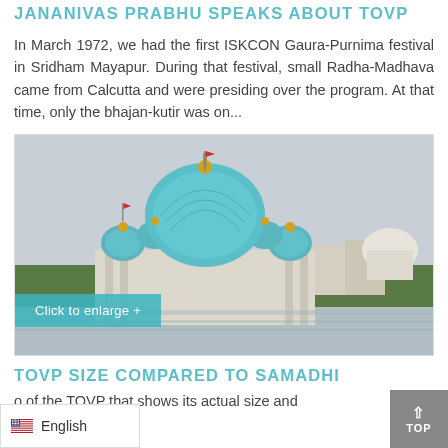JANANIVAS PRABHU SPEAKS ABOUT TOVP
In March 1972, we had the first ISKCON Gaura-Purnima festival in Sridham Mayapur. During that festival, small Radha-Madhava came from Calcutta and were presiding over the program. At that time, only the bhajan-kutir was on...
[Figure (photo): Photograph of the TOVP (Temple of the Vedic Planetarium) in Mayapur, India, showing large blue domes with gold finials reflected near a river, with trees and buildings in the background. A 'Click to enlarge +' button overlays the bottom-left.]
TOVP SIZE COMPARED TO SAMADHI
o of the TOVP that shows its actual size and